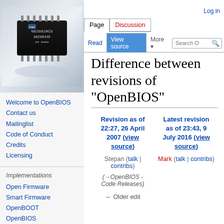[Figure (photo): Close-up photo of a DIP integrated circuit chip (microchip) labeled N82802AC8 A0200446, with metallic pins on a white/blue background]
Log in
Welcome to OpenBIOS
Contact us
Mailinglist
Code of Conduct
Credits
Licensing
Implementations
Open Firmware
Smart Firmware
OpenBOOT
OpenBIOS
SLOF
Difference between revisions of "OpenBIOS"
| Revision as of 22:27, 26 April 2007 (view source) | Latest revision as of 23:43, 9 July 2016 (view source) |
| --- | --- |
| Stepan (talk | contribs) | Mark (talk | contribs) |
| (→OpenBIOS - Code Releases) |  |
| ← Older edit |  |